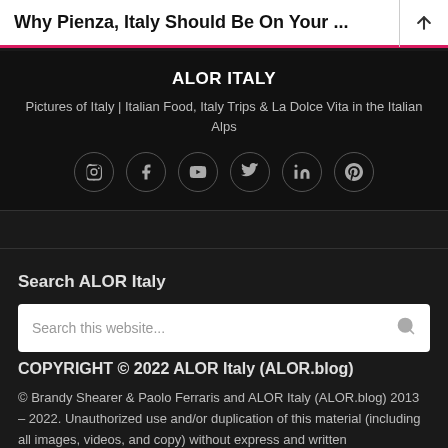Why Pienza, Italy Should Be On Your ...
ALOR ITALY
Pictures of Italy | Italian Food, Italy Trips & La Dolce Vita in the Italian Alps
[Figure (infographic): Social media icons in circles: Instagram, Facebook, YouTube, Twitter, LinkedIn, Pinterest]
Search ALOR Italy
Search this website...
COPYRIGHT © 2022 ALOR Italy (ALOR.blog)
© Brandy Shearer & Paolo Ferraris and ALOR Italy (ALOR.blog) 2013 – 2022. Unauthorized use and/or duplication of this material (including all images, videos, and copy) without express and written